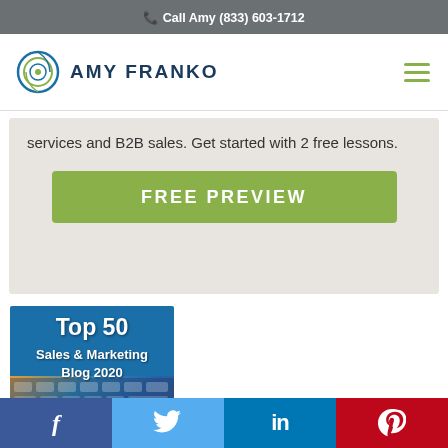Call Amy (833) 603-1712
[Figure (logo): Amy Franko logo with circular graphic and text AMY FRANKO]
services and B2B sales. Get started with 2 free lessons.
FREE PREVIEW
[Figure (infographic): Top 50 Sales & Marketing Blog 2020 badge with keyboard background image]
f  Twitter  in  Pinterest social share bar